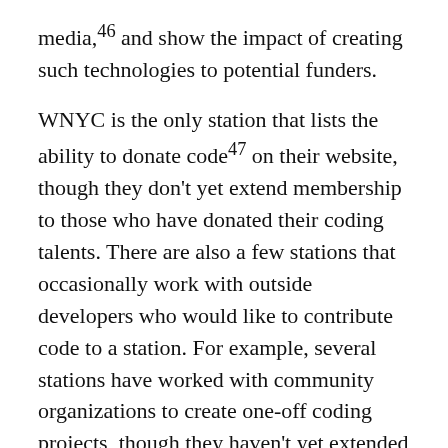media,46 and show the impact of creating such technologies to potential funders.
WNYC is the only station that lists the ability to donate code47 on their website, though they don't yet extend membership to those who have donated their coding talents. There are also a few stations that occasionally work with outside developers who would like to contribute code to a station. For example, several stations have worked with community organizations to create one-off coding projects, though they haven't yet extended membership to those who donate in this way:
WAMU collaborated with the civic hacking organization Code for DC to create an